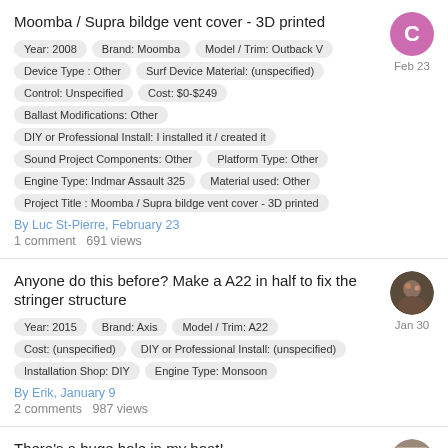Moomba / Supra bildge vent cover - 3D printed
Year: 2008
Brand: Moomba
Model / Trim: Outback V
Device Type : Other
Surf Device Material: (unspecified)
Control: Unspecified
Cost: $0-$249
Ballast Modifications: Other
DIY or Professional Install: I installed it / created it
Sound Project Components: Other
Platform Type: Other
Engine Type: Indmar Assault 325
Material used: Other
Project Title : Moomba / Supra bildge vent cover - 3D printed
By Luc St-Pierre, February 23
1 comment   691 views
Anyone do this before? Make a A22 in half to fix the stringer structure
Year: 2015
Brand: Axis
Model / Trim: A22
Cost: (unspecified)
DIY or Professional Install: (unspecified)
Installation Shop: DIY
Engine Type: Monsoon
By Erik, January 9
2 comments   987 views
There's a huge hole in my boat!